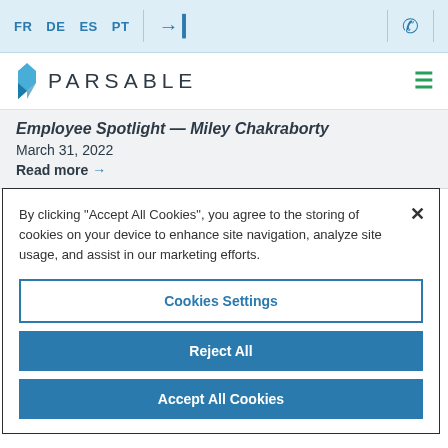FR  DE  ES  PT  [login icon]  [phone icon]
[Figure (logo): Parsable logo with blue leaf icon and PARSABLE text, hamburger menu icon on the right]
Employee Spotlight — Miley Chakraborty
March 31, 2022
Read more →
By clicking "Accept All Cookies", you agree to the storing of cookies on your device to enhance site navigation, analyze site usage, and assist in our marketing efforts.
Cookies Settings
Reject All
Accept All Cookies